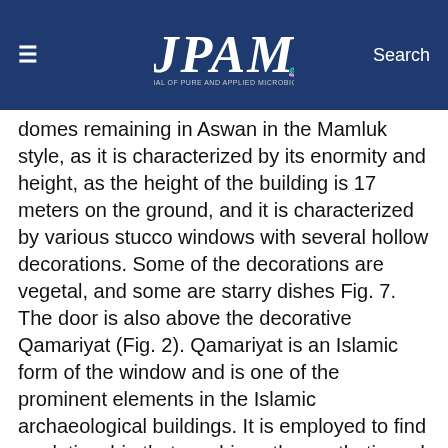JPAM — Journal of Pure and Applied Microbiology
domes remaining in Aswan in the Mamluk style, as it is characterized by its enormity and height, as the height of the building is 17 meters on the ground, and it is characterized by various stucco windows with several hollow decorations. Some of the decorations are vegetal, and some are starry dishes Fig. 7. The door is also above the decorative Qamariyat (Fig. 2). Qamariyat is an Islamic form of the window and is one of the prominent elements in the Islamic archaeological buildings. It is employed to find a relationship that combines the aesthetic and utilitarian value, and its functions are to prevent insects that infiltrate from outside the building to the inside. Qamariyat is made of gypsum and colored glass of the very magnificence It is surmounted by a foundation slab of white marble with